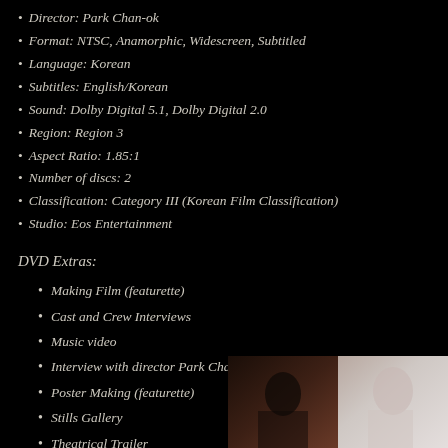Director: Park Chan-ok
Format: NTSC, Anamorphic, Widescreen, Subtitled
Language: Korean
Subtitles: English/Korean
Sound: Dolby Digital 5.1, Dolby Digital 2.0
Region: Region 3
Aspect Ratio: 1.85:1
Number of discs: 2
Classification: Category III (Korean Film Classification)
Studio: Eos Entertainment
DVD Extras:
Making Film (featurette)
Cast and Crew Interviews
Music video
Interview with director Park Chan-ok
Poster Making (featurette)
Stills Gallery
Theatrical Trailer
[Figure (photo): Two-panel photo strip at bottom right: left panel dark brown/shadowed scene, right panel light-toned image of a person]